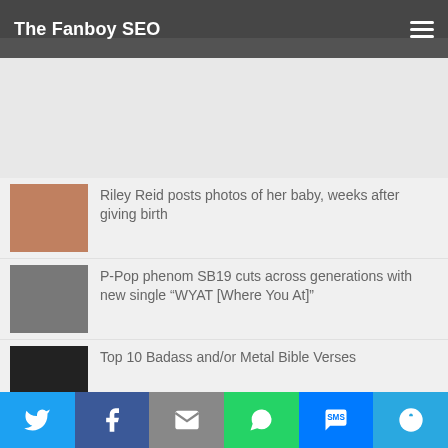The Fanboy SEO
[Figure (photo): Top photo strip showing people at an event, partially visible behind the header bar]
[Figure (photo): Gray advertisement/banner space]
Riley Reid posts photos of her baby, weeks after giving birth
P-Pop phenom SB19 cuts across generations with new single “WYAT [Where You At]”
Top 10 Badass and/or Metal Bible Verses
L (Larawan, Liko, Lipat) Erotic series starring
Twitter | Facebook | Email | WhatsApp | SMS | More